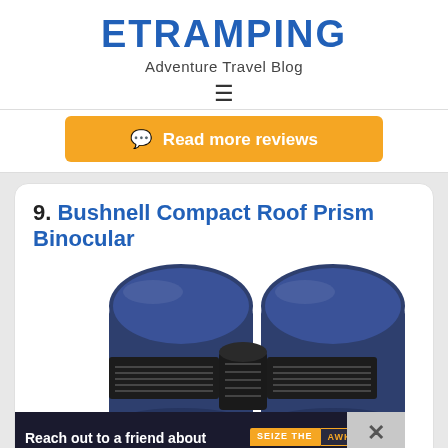ETRAMPING
Adventure Travel Blog
[Figure (screenshot): Orange button with chat icon reading 'Read more reviews']
9. Bushnell Compact Roof Prism Binocular
[Figure (photo): Close-up photo of Bushnell Compact Roof Prism Binoculars in dark navy blue color showing the eyepiece and focus wheel detail]
[Figure (photo): Advertisement banner: 'Reach out to a friend about their mental health. Learn more' with SEIZE THE AWKWARD branding]